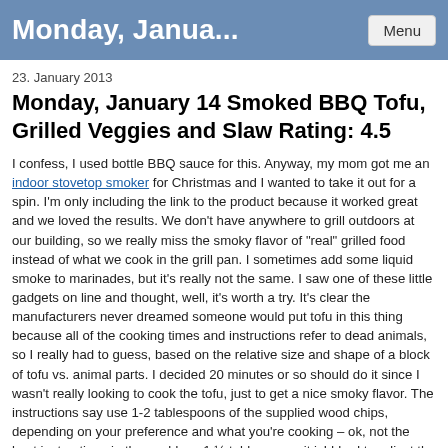Monday, Janua...
23. January 2013
Monday, January 14 Smoked BBQ Tofu, Grilled Veggies and Slaw Rating: 4.5
I confess, I used bottle BBQ sauce for this. Anyway, my mom got me an indoor stovetop smoker for Christmas and I wanted to take it out for a spin. I'm only including the link to the product because it worked great and we loved the results. We don't have anywhere to grill outdoors at our building, so we really miss the smoky flavor of "real" grilled food instead of what we cook in the grill pan. I sometimes add some liquid smoke to marinades, but it's really not the same. I saw one of these little gadgets on line and thought, well, it's worth a try. It's clear the manufacturers never dreamed someone would put tofu in this thing because all of the cooking times and instructions refer to dead animals, so I really had to guess, based on the relative size and shape of a block of tofu vs. animal parts. I decided 20 minutes or so should do it since I wasn't really looking to cook the tofu, just to get a nice smoky flavor. The instructions say use 1-2 tablespoons of the supplied wood chips, depending on your preference and what you're cooking – ok, not the best instructions in the world, so 1 ½ tablespoons it is! I had to adjust the lid a little bit and laid a kitchen towel over a small opening, but really, it didn't let a lot of smoke out into the kitchen. And by not a lot I mean